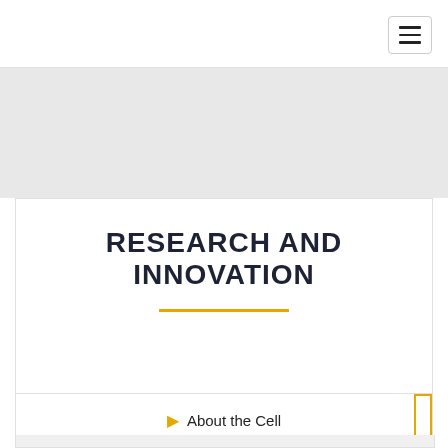[Figure (screenshot): Gray hero banner area placeholder]
RESEARCH AND INNOVATION
About the Cell